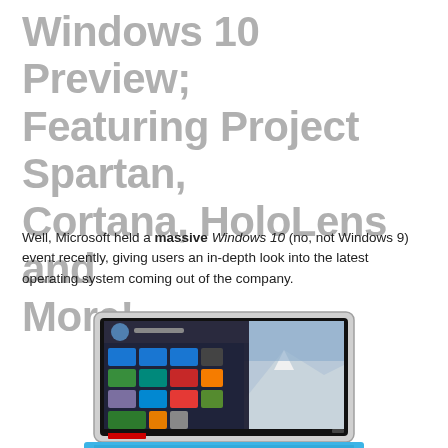Windows 10 Preview; Featuring Project Spartan, Cortana, HoloLens and More!
Well, Microsoft held a massive Windows 10 (no, not Windows 9) event recently, giving users an in-depth look into the latest operating system coming out of the company.
[Figure (photo): Microsoft Surface Pro 3 tablet showing Windows 10 Start Menu interface with tiles and mountain landscape wallpaper, blue keyboard dock visible at bottom]